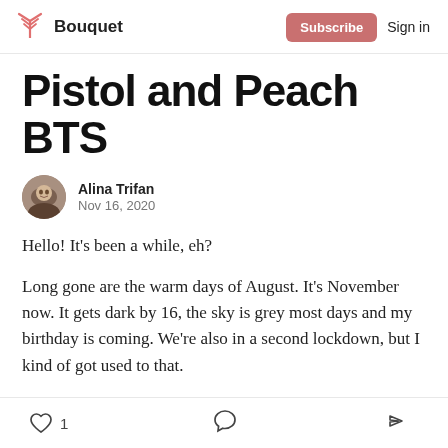Bouquet | Subscribe | Sign in
Pistol and Peach BTS
Alina Trifan
Nov 16, 2020
Hello! It's been a while, eh?
Long gone are the warm days of August. It's November now. It gets dark by 16, the sky is grey most days and my birthday is coming. We're also in a second lockdown, but I kind of got used to that.
1 [like] [comment] [share]